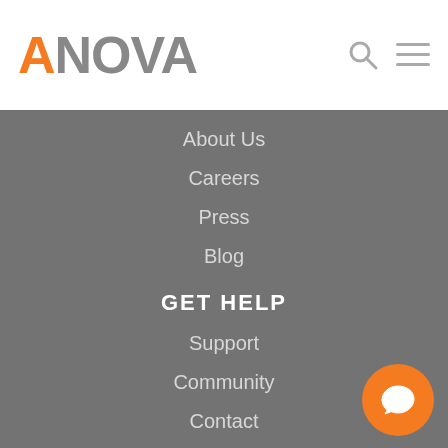ANOVA
About Us
Careers
Press
Blog
GET HELP
Support
Community
Contact
Order Lookup
Do Not Sell My Information